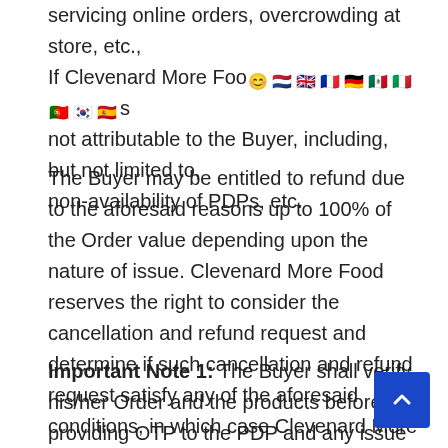servicing online orders, overcrowding at store, etc., If Clevenard More Food [emojis/flags] reasons not attributable to the Buyer, including, but not limited to, non-availability of PDPs, etc.
The Buyer may be entitled to refund due to the aforesaid reasons up to 100% of the Order value depending upon the nature of issue. Clevenard More Food reserves the right to consider the cancellation and refund request and determine if such cancellation and refund request satisfy any of the aforesaid conditions, in which case Clevenard More Food shall process the cancellation request and refund to Buyer.
Important Note 1: The Buyer shall verify his/her Order and the products before providing OTP to the PDP and any issue with respect to the product or Buyer's Order shall be notified immediately, and cancellation request shall be